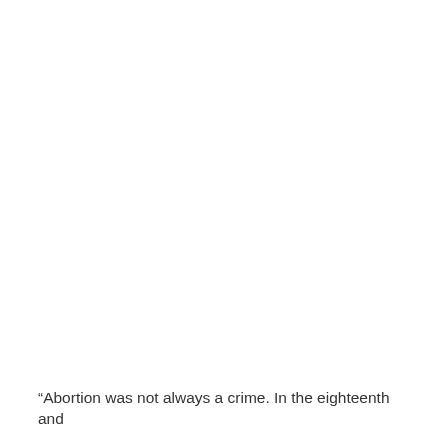“Abortion was not always a crime. In the eighteenth and